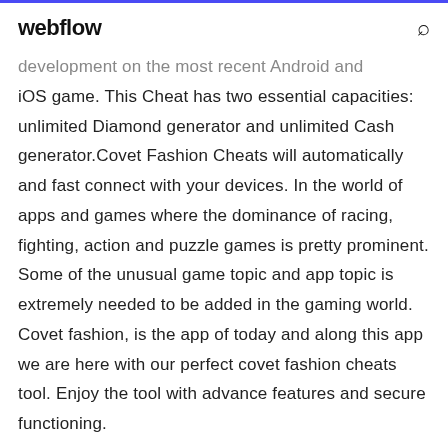webflow [search icon]
development on the most recent Android and iOS game. This Cheat has two essential capacities: unlimited Diamond generator and unlimited Cash generator.Covet Fashion Cheats will automatically and fast connect with your devices. In the world of apps and games where the dominance of racing, fighting, action and puzzle games is pretty prominent. Some of the unusual game topic and app topic is extremely needed to be added in the gaming world. Covet fashion, is the app of today and along this app we are here with our perfect covet fashion cheats tool. Enjoy the tool with advance features and secure functioning.